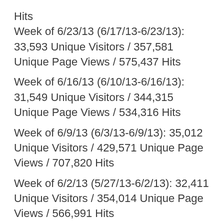Hits
Week of 6/23/13 (6/17/13-6/23/13): 33,593 Unique Visitors / 357,581 Unique Page Views / 575,437 Hits
Week of 6/16/13 (6/10/13-6/16/13): 31,549 Unique Visitors / 344,315 Unique Page Views / 534,316 Hits
Week of 6/9/13 (6/3/13-6/9/13): 35,012 Unique Visitors / 429,571 Unique Page Views / 707,820 Hits
Week of 6/2/13 (5/27/13-6/2/13): 32,411 Unique Visitors / 354,014 Unique Page Views / 566,991 Hits
New Business in 2013: 778 new businesses